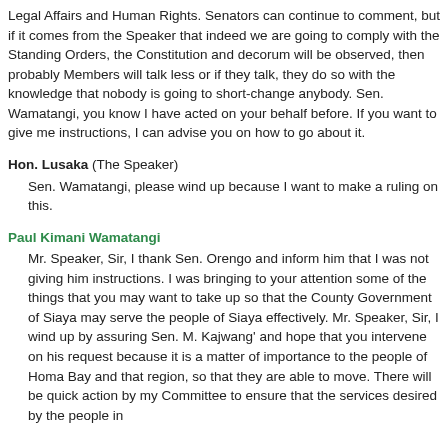Legal Affairs and Human Rights. Senators can continue to comment, but if it comes from the Speaker that indeed we are going to comply with the Standing Orders, the Constitution and decorum will be observed, then probably Members will talk less or if they talk, they do so with the knowledge that nobody is going to short-change anybody. Sen. Wamatangi, you know I have acted on your behalf before. If you want to give me instructions, I can advise you on how to go about it.
Hon. Lusaka (The Speaker)
Sen. Wamatangi, please wind up because I want to make a ruling on this.
Paul Kimani Wamatangi
Mr. Speaker, Sir, I thank Sen. Orengo and inform him that I was not giving him instructions. I was bringing to your attention some of the things that you may want to take up so that the County Government of Siaya may serve the people of Siaya effectively. Mr. Speaker, Sir, I wind up by assuring Sen. M. Kajwang' and hope that you intervene on his request because it is a matter of importance to the people of Homa Bay and that region, so that they are able to move. There will be quick action by my Committee to ensure that the services desired by the people in